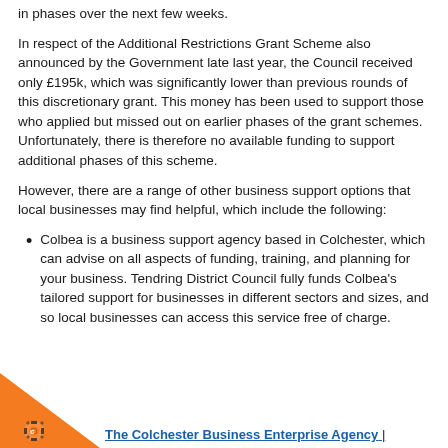in phases over the next few weeks.
In respect of the Additional Restrictions Grant Scheme also announced by the Government late last year, the Council received only £195k, which was significantly lower than previous rounds of this discretionary grant. This money has been used to support those who applied but missed out on earlier phases of the grant schemes. Unfortunately, there is therefore no available funding to support additional phases of this scheme.
However, there are a range of other business support options that local businesses may find helpful, which include the following:
Colbea is a business support agency based in Colchester, which can advise on all aspects of funding, training, and planning for your business. Tendring District Council fully funds Colbea's tailored support for businesses in different sectors and sizes, and so local businesses can access this service free of charge.
The Colchester Business Enterprise Agency |